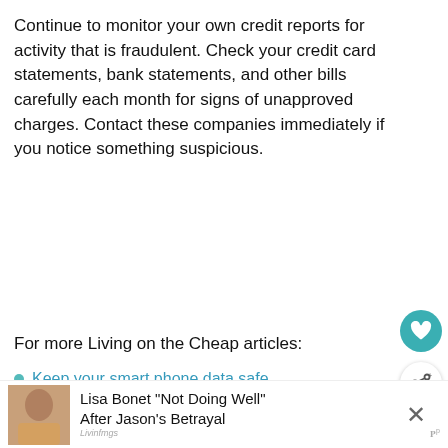Continue to monitor your own credit reports for activity that is fraudulent. Check your credit card statements, bank statements, and other bills carefully each month for signs of unapproved charges. Contact these companies immediately if you notice something suspicious.
For more Living on the Cheap articles:
Keep your smart phone data safe
Avoid counterfeit technology
Free or low cost home security
[Figure (other): Floating heart button (teal circle with heart icon)]
[Figure (other): Share button (white circle with share icon)]
[Figure (other): What's Next panel with thumbnail and text: What happened at...]
[Figure (photo): Ad banner showing Lisa Bonet with text: Lisa Bonet "Not Doing Well" After Jason's Betrayal]